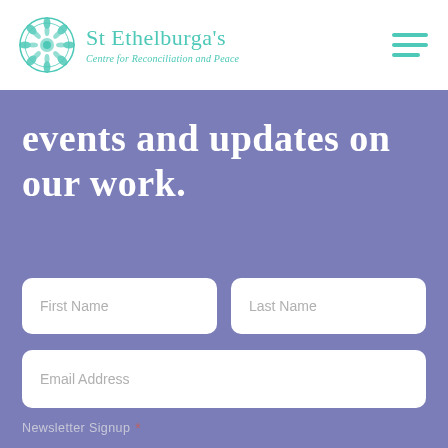[Figure (logo): St Ethelburga's Centre for Reconciliation and Peace logo with teal mandala flower and text]
events and updates on our work.
First Name
Last Name
Email Address
Newsletter Signup *